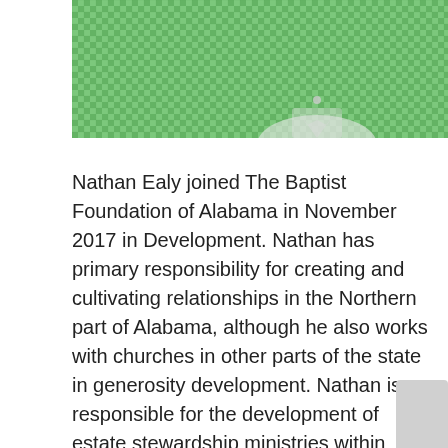[Figure (photo): Partial photo of a person wearing a green and white checkered/gingham shirt, cropped to show collar and chest area]
Nathan Ealy joined The Baptist Foundation of Alabama in November 2017 in Development. Nathan has primary responsibility for creating and cultivating relationships in the Northern part of Alabama, although he also works with churches in other parts of the state in generosity development. Nathan is responsible for the development of estate stewardship ministries within churches, as well as assisting individuals in completing their estate plans to help them remember their families and their faith. He also works with churches who are invested with the Foundation or have interest in what the Foundation offers.  Prior to joining the Foundation, Nathan spent seven years with churches across the country in best stewardship practices, annual giving campaigns, and capital campaigns. Nathan received his bachelor's degree from Auburn University in 2002 in Mass